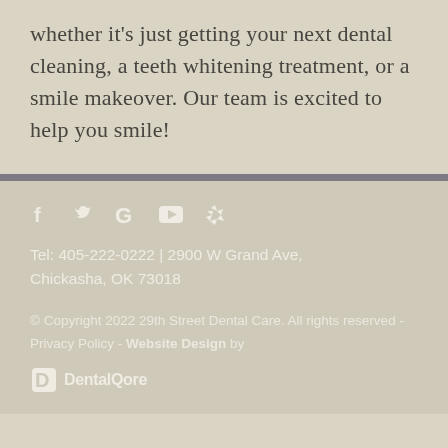whether it's just getting your next dental cleaning, a teeth whitening treatment, or a smile makeover. Our team is excited to help you smile!
Tel: 405-222-0222 | 2900 W Grand Ave, Chickasha, OK 73018
© Copyright 2022 29th Street Dental Care. All rights reserved  -  Privacy Policy  -  Website Design by
[Figure (logo): DentalQore logo with stylized D icon and text 'DentalQore']